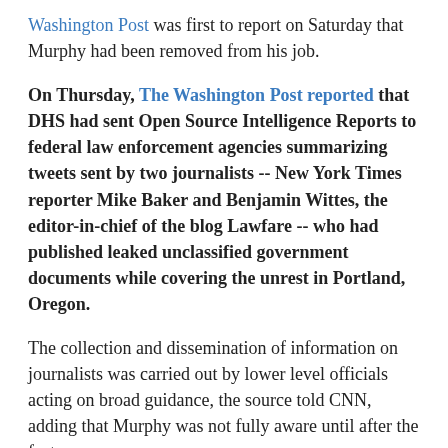Washington Post was first to report on Saturday that Murphy had been removed from his job.
On Thursday, The Washington Post reported that DHS had sent Open Source Intelligence Reports to federal law enforcement agencies summarizing tweets sent by two journalists -- New York Times reporter Mike Baker and Benjamin Wittes, the editor-in-chief of the blog Lawfare -- who had published leaked unclassified government documents while covering the unrest in Portland, Oregon.
The collection and dissemination of information on journalists was carried out by lower level officials acting on broad guidance, the source told CNN, adding that Murphy was not fully aware until after the fact.
Wolf, who has led the department in an acting capacity since last November, sought to distance himself from the incident.